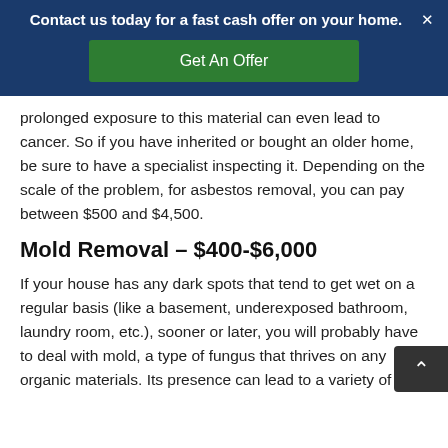Contact us today for a fast cash offer on your home.
prolonged exposure to this material can even lead to cancer. So if you have inherited or bought an older home, be sure to have a specialist inspecting it. Depending on the scale of the problem, for asbestos removal, you can pay between $500 and $4,500.
Mold Removal – $400-$6,000
If your house has any dark spots that tend to get wet on a regular basis (like a basement, underexposed bathroom, laundry room, etc.), sooner or later, you will probably have to deal with mold, a type of fungus that thrives on any organic materials. Its presence can lead to a variety of health issues as well as structural problems.